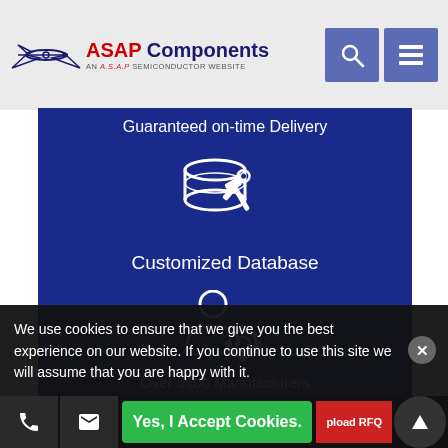ASAP Components — AN A.S.A.P SEMICONDUCTOR WEBSITE
Guaranteed on-time Delivery
[Figure (illustration): Icon of a database cylinder with a wrench and hammer tool, white outline on dark blue background]
Customized Database
[Figure (illustration): Icon of a person/user silhouette with a gear/settings icon, white outline on dark blue background]
Over 5100 Manufacturers
We use cookies to ensure that we give you the best experience on our website. If you continue to use this site we will assume that you are happy with it.
Yes, I Accept Cookies.